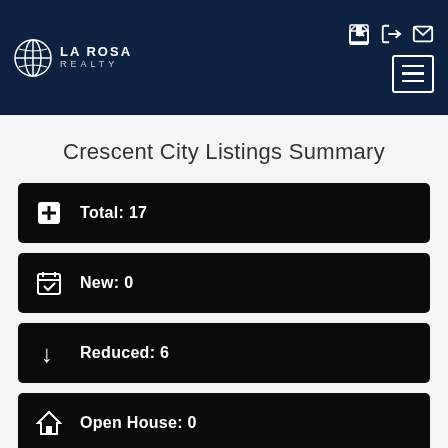[Figure (logo): La Rosa Realty logo with globe icon and text]
Crescent City Listings Summary
Total: 17
New: 0
Reduced: 6
Open House: 0